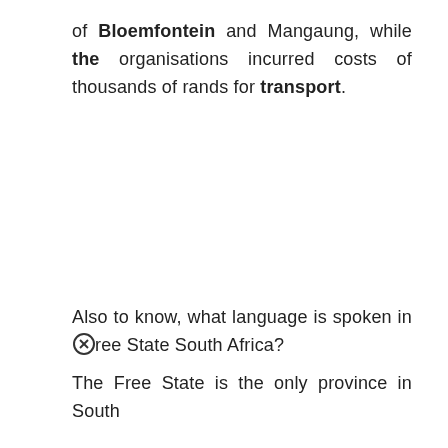of Bloemfontein and Mangaung, while the organisations incurred costs of thousands of rands for transport.
Also to know, what language is spoken in Free State South Africa?
The Free State is the only province in South